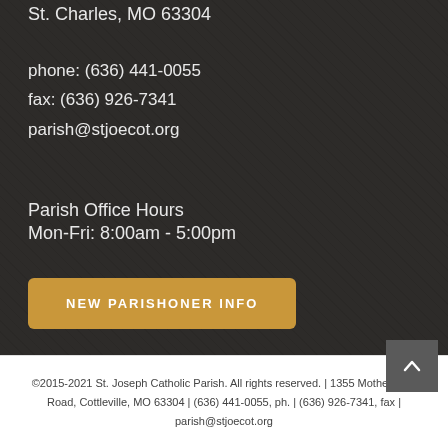St. Charles, MO 63304
phone: (636) 441-0055
fax: (636) 926-7341
parish@stjoecot.org
Parish Office Hours
Mon-Fri: 8:00am - 5:00pm
NEW PARISHONER INFO
©2015-2021 St. Joseph Catholic Parish. All rights reserved. | 1355 Motherhead Road, Cottleville, MO 63304 | (636) 441-0055, ph. | (636) 926-7341, fax | parish@stjoecot.org